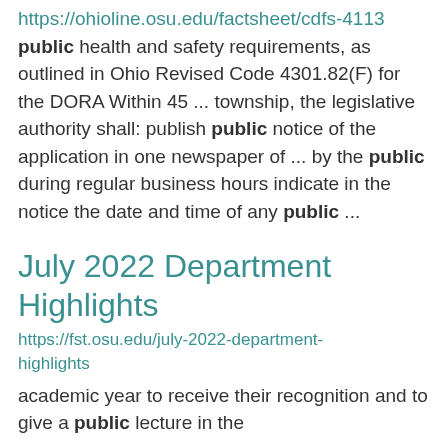https://ohioline.osu.edu/factsheet/cdfs-4113
public health and safety requirements, as outlined in Ohio Revised Code 4301.82(F) for the DORA Within 45 ... township, the legislative authority shall: publish public notice of the application in one newspaper of ... by the public during regular business hours indicate in the notice the date and time of any public ...
July 2022 Department Highlights
https://fst.osu.edu/july-2022-department-highlights
academic year to receive their recognition and to give a public lecture in the